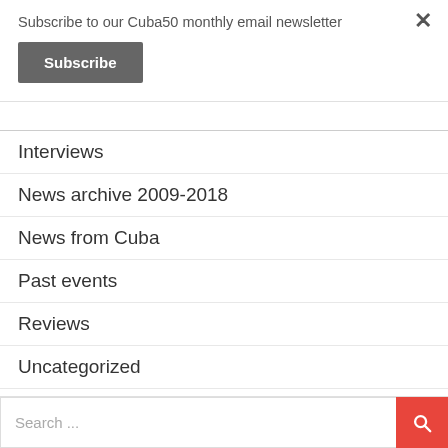Subscribe to our Cuba50 monthly email newsletter
Subscribe
Interviews
News archive 2009-2018
News from Cuba
Past events
Reviews
Uncategorized
What's On
Search ...